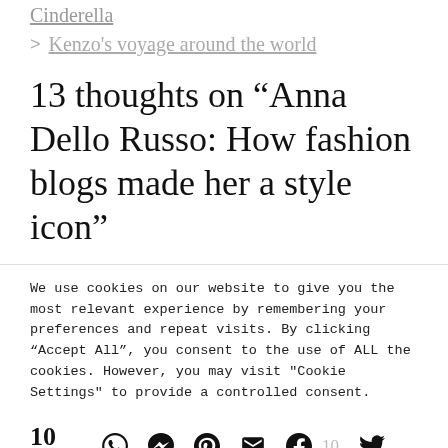Cinderella
> Kenzo's voyage around the world
13 thoughts on “Anna Dello Russo: How fashion blogs made her a style icon”
We use cookies on our website to give you the most relevant experience by remembering your preferences and repeat visits. By clicking “Accept All”, you consent to the use of ALL the cookies. However, you may visit "Cookie Settings" to provide a controlled consent.
10 Share